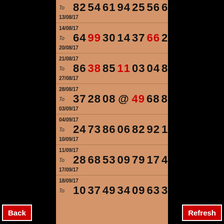| Date Range | To | Numbers |
| --- | --- | --- |
| 13/08/17 | To | 82 54 61 94 25 56 67 |
| 14/08/17 To 20/08/17 | To | 64 99 30 14 37 66 21 |
| 21/08/17 To 27/08/17 | To | 86 38 85 11 03 04 80 |
| 28/08/17 To 03/09/17 | To | 37 28 08 @ 49 68 81 |
| 04/09/17 To 10/09/17 | To | 24 73 86 06 82 92 17 |
| 11/09/17 To 17/09/17 | To | 28 68 53 09 79 17 47 |
| 18/09/17 | To | 10 37 49 34 09 63 31 |